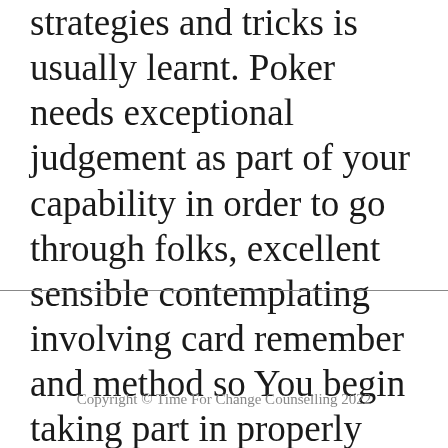strategies and tricks is usually learnt. Poker needs exceptional judgement as part of your capability in order to go through folks, excellent sensible contemplating involving card remember and method so You begin taking part in properly this confidence booster is often really addictive.
Copyright © Time For Change Counselling 2022